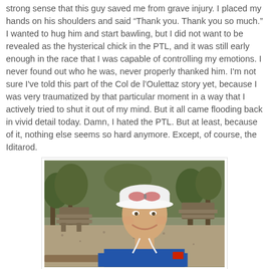strong sense that this guy saved me from grave injury. I placed my hands on his shoulders and said "Thank you. Thank you so much." I wanted to hug him and start bawling, but I did not want to be revealed as the hysterical chick in the PTL, and it was still early enough in the race that I was capable of controlling my emotions. I never found out who he was, never properly thanked him. I'm not sure I've told this part of the Col de l'Oulettaz story yet, because I was very traumatized by that particular moment in a way that I actively tried to shut it out of my mind. But it all came flooding back in vivid detail today. Damn, I hated the PTL. But at least, because of it, nothing else seems so hard anymore. Except, of course, the Iditarod.
[Figure (photo): A woman wearing a white visor with sunglasses on top and a blue North Face shirt takes a selfie in an outdoor picnic area with trees and picnic tables in the background.]